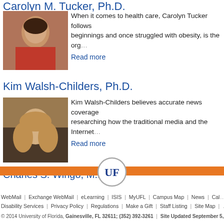Carolyn M. Tucker, Ph.D.
[Figure (photo): Headshot photo of Carolyn M. Tucker]
When it comes to health care, Carolyn Tucker follows beginnings and once struggled with obesity, is the org...
Read more
Kim Walsh-Childers, Ph.D.
[Figure (photo): Headshot photo of Kim Walsh-Childers]
Kim Walsh-Childers believes accurate news coverage researching how the traditional media and the Internet...
Read more
Charles S. Wingo, M.D.
[Figure (photo): Headshot photo of Charles S. Wingo]
For Charles S. Wingo, it's about keeping the beat. Hea in the kidneys has the potential to open new doors in ...
Read more
[Figure (logo): University of Florida UF logo circle]
WebMail | Exchange WebMail | eLearning | ISIS | MyUFL | Campus Map | News | Cal... | Disability Services | Privacy Policy | Regulations | Make a Gift | Staff Listing | Site Map | ... | © 2014 University of Florida, Gainesville, FL 32611; (352) 392-3261 | Site Updated September 5, 2014